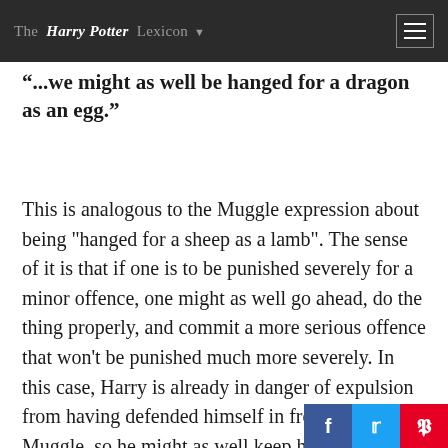The Harry Potter Lexicon
"...we might as well be hanged for a dragon as an egg."
This is analogous to the Muggle expression about being "hanged for a sheep as a lamb". The sense of it is that if one is to be punished severely for a minor offence, one might as well go ahead, do the thing properly, and commit a more serious offence that won't be punished much more severely. In this case, Harry is already in danger of expulsion from having defended himself in front of a Muggle, so he might as well keep himself prepared for an attack.